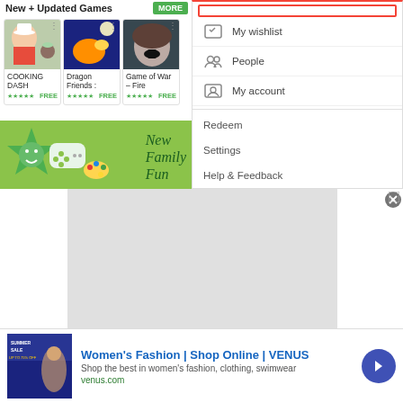[Figure (screenshot): Google Play Store screenshot showing New + Updated Games section with game cards (Cooking Dash, Dragon Friends, Game of War - Fire) and New Family Fun banner]
[Figure (screenshot): Google Play dropdown menu showing My wishlist, People, My account, Redeem, Settings, Help & Feedback, Parent Guide]
[Figure (screenshot): Gray placeholder/loading area below main content]
[Figure (screenshot): Advertisement banner for Venus Women's Fashion - Shop Online, with close button and arrow navigation]